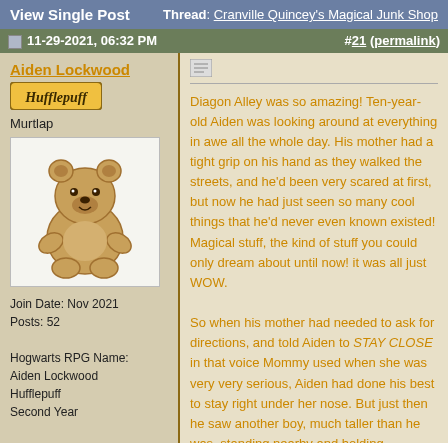View Single Post | Thread: Cranville Quincey's Magical Junk Shop
11-29-2021, 06:32 PM | #21 (permalink)
Aiden Lockwood
Hufflepuff
Murtlap
[Figure (photo): Avatar image of a tan teddy bear sitting upright]
Join Date: Nov 2021
Posts: 52

Hogwarts RPG Name:
Aiden Lockwood
Hufflepuff
Second Year
Diagon Alley was so amazing! Ten-year-old Aiden was looking around at everything in awe all the whole day. His mother had a tight grip on his hand as they walked the streets, and he'd been very scared at first, but now he had just seen so many cool things that he'd never even known existed! Magical stuff, the kind of stuff you could only dream about until now! it was all just WOW.

So when his mother had needed to ask for directions, and told Aiden to STAY CLOSE in that voice Mommy used when she was very very serious, Aiden had done his best to stay right under her nose. But just then he saw another boy, much taller than he was, standing nearby and holding something up into the sun. Aiden walked up to him curiously, holding his teddy bear. The only clue that little Aiden might be a future Hogwarts student was the slightly-oversized pair of robes he wore.